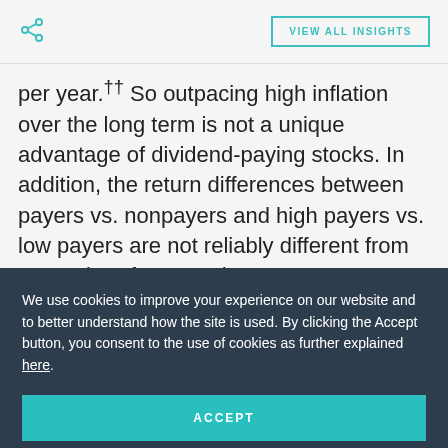VIEW ALL INSIGHTS
per year.†† So outpacing high inflation over the long term is not a unique advantage of dividend-paying stocks. In addition, the return differences between payers vs. nonpayers and high payers vs. low payers are not reliably different from zero. Therefore, we don’t see strong evidence that dividend-paying stocks perform better...
We use cookies to improve your experience on our website and to better understand how the site is used. By clicking the Accept button, you consent to the use of cookies as further explained here.
No Special Delivery